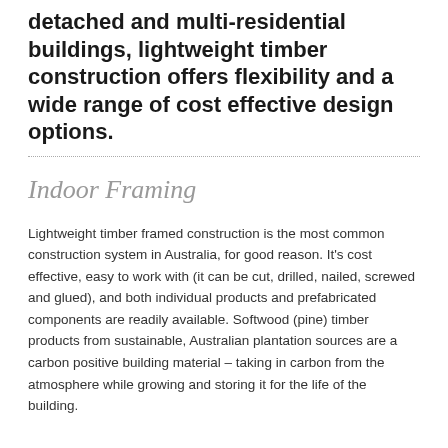detached and multi-residential buildings, lightweight timber construction offers flexibility and a wide range of cost effective design options.
Indoor Framing
Lightweight timber framed construction is the most common construction system in Australia, for good reason. It's cost effective, easy to work with (it can be cut, drilled, nailed, screwed and glued), and both individual products and prefabricated components are readily available. Softwood (pine) timber products from sustainable, Australian plantation sources are a carbon positive building material – taking in carbon from the atmosphere while growing and storing it for the life of the building.